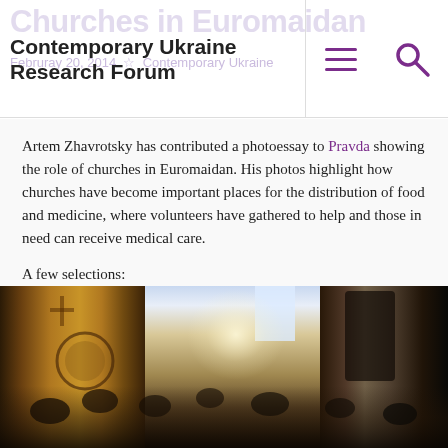Churches in Euromaidan — Contemporary Ukraine Research Forum
Artem Zhavrotsky has contributed a photoessay to Pravda showing the role of churches in Euromaidan. His photos highlight how churches have become important places for the distribution of food and medicine, where volunteers have gathered to help and those in need can receive medical care.
A few selections:
[Figure (photo): Interior of a Ukrainian Orthodox church with ornate frescoes and mosaics on the walls, bright light streaming through windows, people gathered inside during Euromaidan]